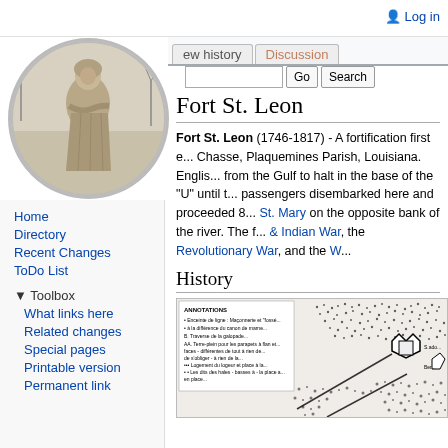Log in
ew history  Discussion
[Figure (photo): Circular avatar showing a stone statue of a figure in robes, outdoors with bare trees in background]
Home
Directory
Recent Changes
ToDo List
Toolbox
What links here
Related changes
Special pages
Printable version
Permanent link
Fort St. Leon
Fort St. Leon (1746-1817) - A fortification first e... Chasse, Plaquemines Parish, Louisiana. Englis... from the Gulf to halt in the base of the "U" until t... passengers disembarked here and proceeded 8... St. Mary on the opposite bank of the river. The f... & Indian War, the Revolutionary War, and the W...
History
[Figure (map): Historical map/plan of Fort St. Leon showing fortification layout with star-shaped fort, surrounding terrain, and a legend/key in the upper left]